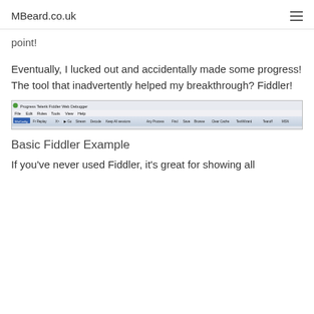MBeard.co.uk
point!
Eventually, I lucked out and accidentally made some progress! The tool that inadvertently helped my breakthrough? Fiddler!
[Figure (screenshot): Screenshot of Progress Telerik Fiddler Web Debugger application showing title bar, menu bar (File, Edit, Rules, Tools, View, Help), and toolbar buttons (WinConfig, Fr Replay, X, Go, Stream, Decode, Keep All sessions, Any Process, Find, Save, Browse, Clear Cache, TextWizard, Tearoff, MSN).]
Basic Fiddler Example
If you've never used Fiddler, it's great for showing all